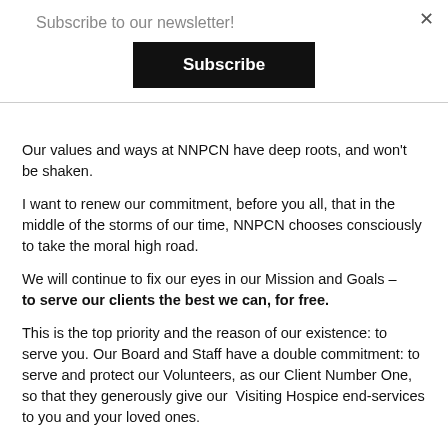Subscribe to our newsletter!
Subscribe
Our values and ways at NNPCN have deep roots, and won't be shaken.
I want to renew our commitment, before you all, that in the middle of the storms of our time, NNPCN chooses consciously to take the moral high road.
We will continue to fix our eyes in our Mission and Goals – to serve our clients the best we can, for free.
This is the top priority and the reason of our existence: to serve you. Our Board and Staff have a double commitment: to serve and protect our Volunteers, as our Client Number One, so that they generously give our  Visiting Hospice end-services to you and your loved ones.